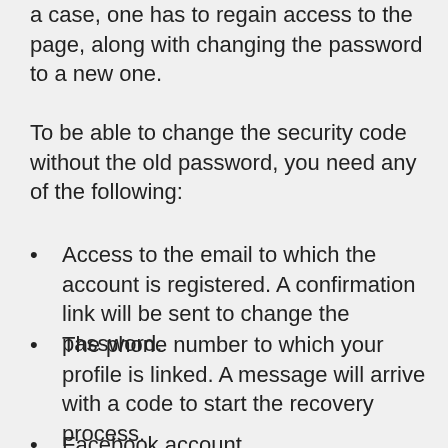a case, one has to regain access to the page, along with changing the password to a new one.
To be able to change the security code without the old password, you need any of the following:
Access to the email to which the account is registered. A confirmation link will be sent to change the password.
The phone number to which your profile is linked. A message will arrive with a code to start the recovery process.
Facebook account.